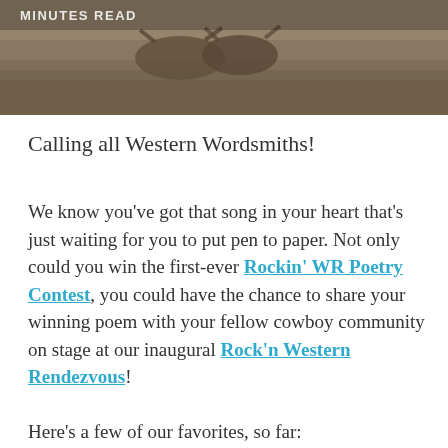[Figure (photo): Sepia-toned hero image of cattle/longhorns in a field, with overlay text 'MINUTES READ' in white capital letters]
Calling all Western Wordsmiths!
We know you've got that song in your heart that's just waiting for you to put pen to paper. Not only could you win the first-ever Rockin' WR Poetry Contest, you could have the chance to share your winning poem with your fellow cowboy community on stage at our inaugural Rock'n Western Rendezvous!
Here's a few of our favorites, so far: